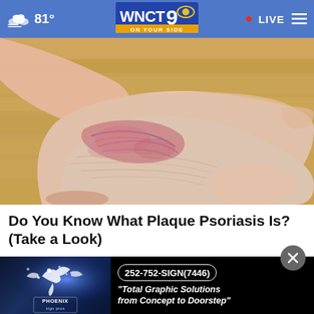81° WNCT 9 ON YOUR SIDE · LIVE
[Figure (photo): Close-up photo of a human foot/ankle showing psoriasis skin condition with reddish, scaly, inflamed patches on the side and sole of the foot, on a wooden floor background.]
Do You Know What Plaque Psoriasis Is? (Take a Look)
Plaque Psoriasis Treatment | S
[Figure (photo): Advertisement banner for Phoenix Sign Pros with blue sparkling background, phoenix bird logo, phone number 252-752-SIGN(7446), and tagline 'Total Graphic Solutions from Concept to Doorstep']